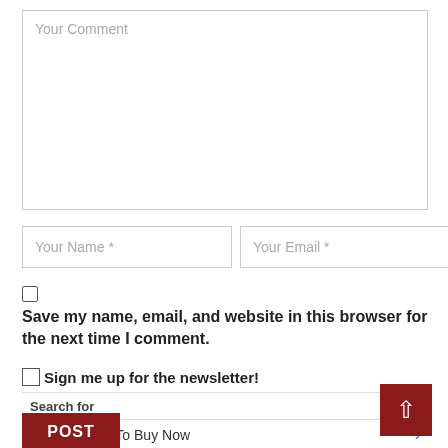Your Comment
Your Name *
Your Email *
Save my name, email, and website in this browser for the next time I comment.
Sign me up for the newsletter!
Search for
01. 5 Stocks To Buy Now
02. Cheap T Shirts
Yahoo! Search | Sponsored
POST